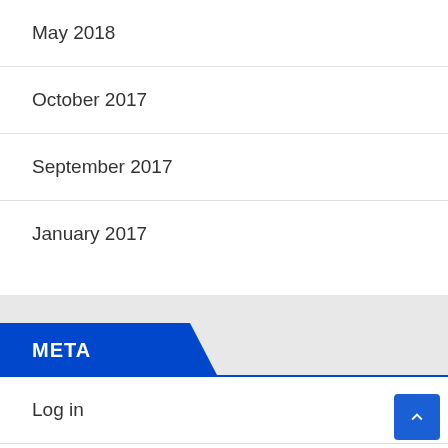May 2018
October 2017
September 2017
January 2017
META
Log in
Entries feed
Comments feed